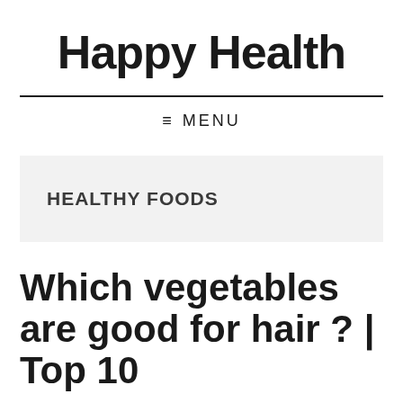Happy Health
≡ MENU
HEALTHY FOODS
Which vegetables are good for hair ? | Top 10